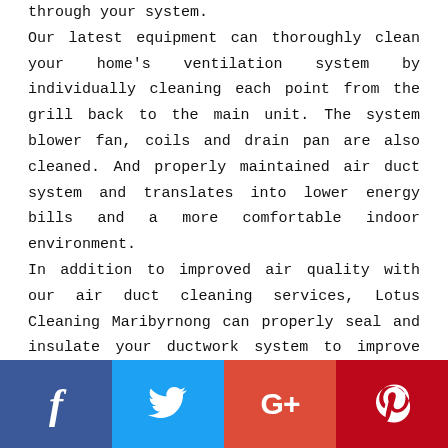through your system. Our latest equipment can thoroughly clean your home's ventilation system by individually cleaning each point from the grill back to the main unit. The system blower fan, coils and drain pan are also cleaned. And properly maintained air duct system and translates into lower energy bills and a more comfortable indoor environment. In addition to improved air quality with our air duct cleaning services, Lotus Cleaning Maribyrnong can properly seal and insulate your ductwork system to improve the energy performance of your HVAC system, allowing less continual running of your air conditioning or heating systems and Save Money.
[Figure (infographic): Social media share bar with four buttons: Facebook (dark blue, 'f' icon), Twitter (light blue, bird icon), Google+ (red-orange, 'G+' icon), Pinterest (dark red, 'P' icon)]